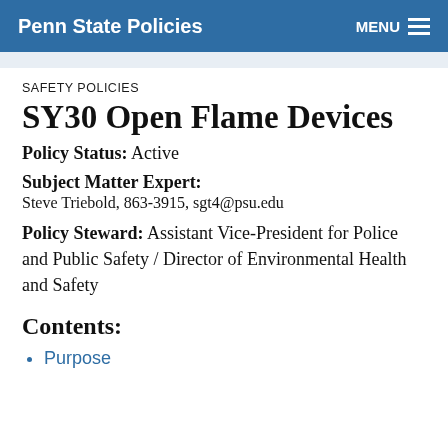Penn State Policies | MENU
SAFETY POLICIES
SY30 Open Flame Devices
Policy Status:  Active
Subject Matter Expert:
Steve Triebold, 863-3915, sgt4@psu.edu
Policy Steward:  Assistant Vice-President for Police and Public Safety / Director of Environmental Health and Safety
Contents:
Purpose